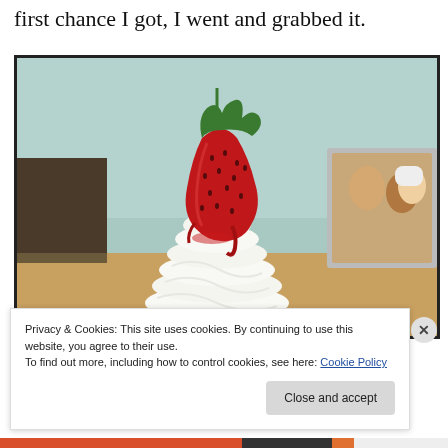first chance I got, I went and grabbed it.
[Figure (photo): Close-up photo of a swirled soft-serve ice cream topped with a large glazed strawberry, set on a wooden desk. In the background, there are blurred photos and office items on shelves.]
Privacy & Cookies: This site uses cookies. By continuing to use this website, you agree to their use.
To find out more, including how to control cookies, see here: Cookie Policy
Close and accept